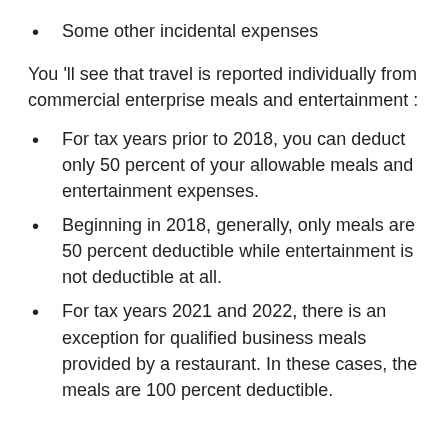Some other incidental expenses
You 'll see that travel is reported individually from commercial enterprise meals and entertainment :
For tax years prior to 2018, you can deduct only 50 percent of your allowable meals and entertainment expenses.
Beginning in 2018, generally, only meals are 50 percent deductible while entertainment is not deductible at all.
For tax years 2021 and 2022, there is an exception for qualified business meals provided by a restaurant. In these cases, the meals are 100 percent deductible.